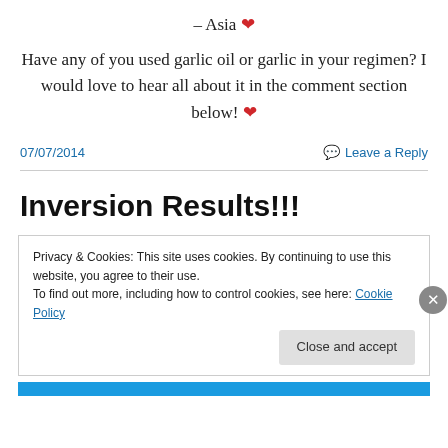– Asia ❤
Have any of you used garlic oil or garlic in your regimen? I would love to hear all about it in the comment section below! ❤
07/07/2014
Leave a Reply
Inversion Results!!!
Privacy & Cookies: This site uses cookies. By continuing to use this website, you agree to their use. To find out more, including how to control cookies, see here: Cookie Policy
Close and accept